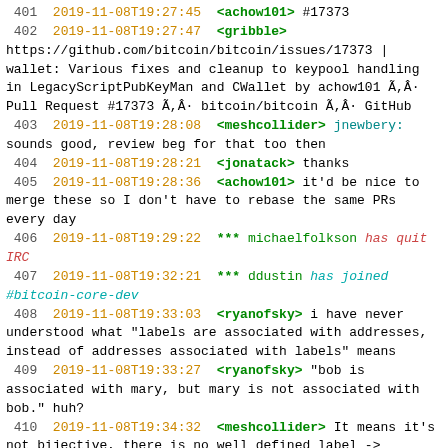401  2019-11-08T19:27:45  <achow101> #17373
402  2019-11-08T19:27:47  <gribble> https://github.com/bitcoin/bitcoin/issues/17373 | wallet: Various fixes and cleanup to keypool handling in LegacyScriptPubKeyMan and CWallet by achow101 Ã,Â· Pull Request #17373 Ã,Â· bitcoin/bitcoin Ã,Â· GitHub
403  2019-11-08T19:28:08  <meshcollider> jnewbery: sounds good, review beg for that too then
404  2019-11-08T19:28:21  <jonatack> thanks
405  2019-11-08T19:28:36  <achow101> it'd be nice to merge these so I don't have to rebase the same PRs every day
406  2019-11-08T19:29:22  *** michaelfolkson has quit IRC
407  2019-11-08T19:32:21  *** ddustin has joined #bitcoin-core-dev
408  2019-11-08T19:33:03  <ryanofsky> i have never understood what "labels are associated with addresses, instead of addresses associated with labels" means
409  2019-11-08T19:33:27  <ryanofsky> "bob is associated with mary, but mary is not associated with bob." huh?
410  2019-11-08T19:34:32  <meshcollider> It means it's not bijective, there is no well defined label -> address map
411  2019-11-08T19:35:14  <meshcollider> Because multiple addresses can have the same label
412  2019-11-08T19:35:31  <sina> meshcollider: that was